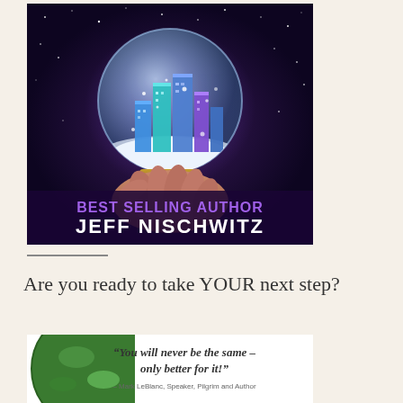[Figure (illustration): Book cover image with dark purple starry background. A hand holds a snow globe containing glowing blue/teal city skyscrapers with snow. Text reads 'BEST SELLING AUTHOR' in purple and 'JEFF NISCHWITZ' in white bold letters.]
Are you ready to take YOUR next step?
[Figure (illustration): Partial book cover image showing green earth/globe on left and white background on right with quote text: 'You will never be the same – only better for it!' attributed to Mark LeBlanc, Speaker, Pilgrim and Author.]